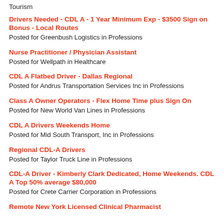Tourism
Drivers Needed - CDL A - 1 Year Minimum Exp - $3500 Sign on Bonus - Local Routes
Posted for Greenbush Logistics in Professions
Nurse Practitioner / Physician Assistant
Posted for Wellpath in Healthcare
CDL A Flatbed Driver - Dallas Regional
Posted for Andrus Transportation Services Inc in Professions
Class A Owner Operators - Flex Home Time plus Sign On
Posted for New World Van Lines in Professions
CDL A Drivers Weekends Home
Posted for Mid South Transport, Inc in Professions
Regional CDL-A Drivers
Posted for Taylor Truck Line in Professions
CDL-A Driver - Kimberly Clark Dedicated, Home Weekends. CDL A Top 50% average $80,000
Posted for Crete Carrier Corporation in Professions
Remote New York Licensed Clinical Pharmacist